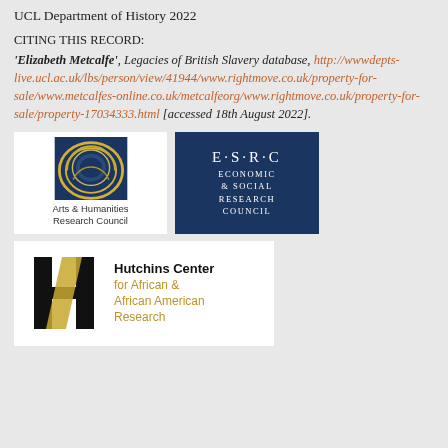UCL Department of History 2022
CITING THIS RECORD:
'Elizabeth Metcalfe', Legacies of British Slavery database, http://wwwdepts-live.ucl.ac.uk/lbs/person/view/41944/www.rightmove.co.uk/property-for-sale/www.metcalfes-online.co.uk/metcalfeorg/www.rightmove.co.uk/property-for-sale/property-17034333.html [accessed 18th August 2022].
[Figure (logo): Arts & Humanities Research Council logo with circular emblem]
[Figure (logo): ESRC Economic & Social Research Council logo, dark blue background with white text]
[Figure (logo): Hutchins Center for African & African American Research logo]